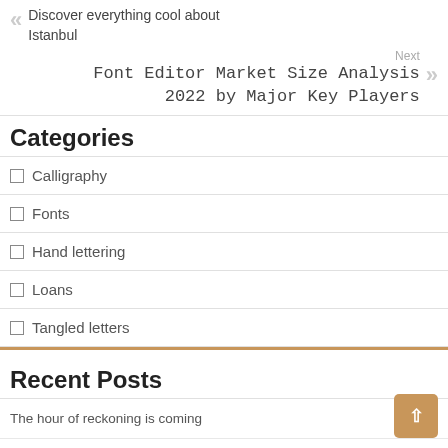Discover everything cool about Istanbul
Next
Font Editor Market Size Analysis 2022 by Major Key Players
Categories
Calligraphy
Fonts
Hand lettering
Loans
Tangled letters
Recent Posts
The hour of reckoning is coming
White Sox coach Jerry Narron brings impressive aesthetic to roster cards